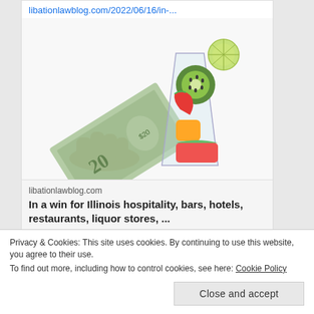libationlawblog.com/2022/06/16/in-...
[Figure (photo): A hand holding a $20 bill next to a glass filled with colorful fruit (kiwi, strawberry, watermelon) and a lime slice garnish on white background]
libationlawblog.com
In a win for Illinois hospitality, bars, hotels, restaurants, liquor stores, ...
Privacy & Cookies: This site uses cookies. By continuing to use this website, you agree to their use.
To find out more, including how to control cookies, see here: Cookie Policy
Close and accept